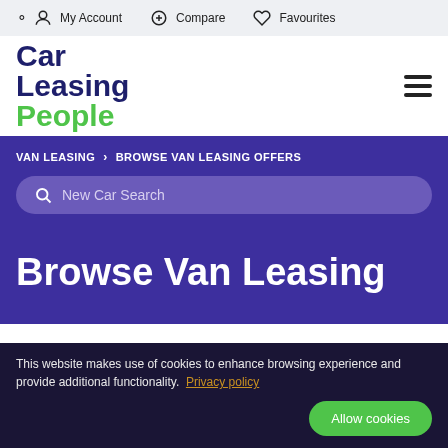My Account  Compare  Favourites
[Figure (logo): Car Leasing People logo with dark blue 'Car Leasing' text and green 'People' text]
VAN LEASING  >  BROWSE VAN LEASING OFFERS
New Car Search
Browse Van Leasing
This website makes use of cookies to enhance browsing experience and provide additional functionality. Privacy policy
Allow cookies